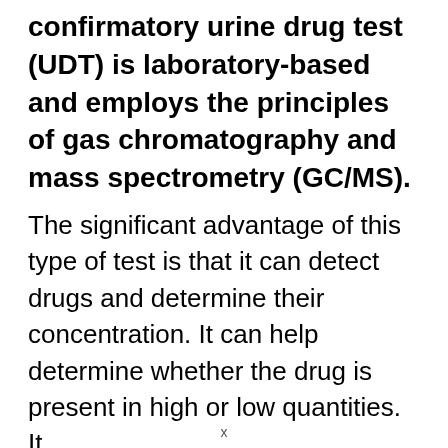confirmatory urine drug test (UDT) is laboratory-based and employs the principles of gas chromatography and mass spectrometry (GC/MS).
The significant advantage of this type of test is that it can detect drugs and determine their concentration. It can help determine whether the drug is present in high or low quantities. It